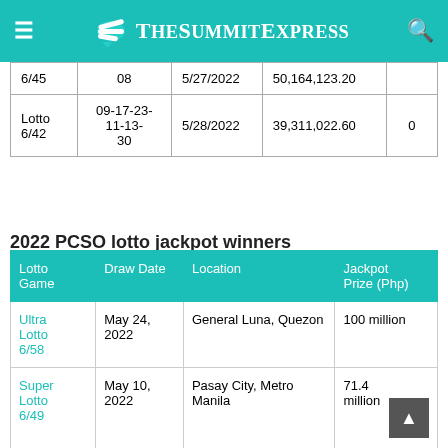TheSummitExpress
|  |  |  |  |  |
| --- | --- | --- | --- | --- |
| 6/45 | 08 | 5/27/2022 | 50,164,123.20 |  |
| Lotto 6/42 | 09-17-23-11-13-30 | 5/28/2022 | 39,311,022.60 | 0 |
2022 PCSO lotto jackpot winners
| Lotto Game | Draw Date | Location | Jackpot Prize (Php) |
| --- | --- | --- | --- |
| Ultra Lotto 6/58 | May 24, 2022 | General Luna, Quezon | 100 million |
| Super Lotto 6/49 | May 10, 2022 | Pasay City, Metro Manila | 71.4 million |